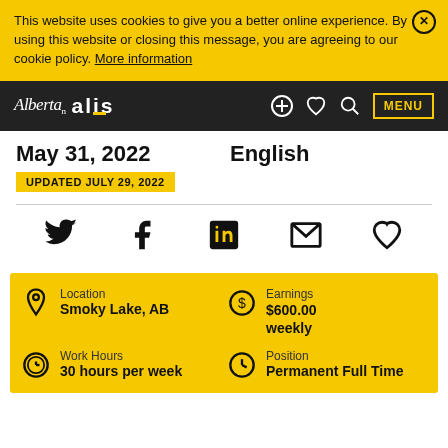This website uses cookies to give you a better online experience. By using this website or closing this message, you are agreeing to our cookie policy. More information
[Figure (screenshot): Alberta ALIS website navigation bar with logo, plus, heart, search icons and MENU button]
May 31, 2022
English
UPDATED JULY 29, 2022
[Figure (infographic): Social sharing icons: Twitter, Facebook, LinkedIn, Email, Heart/Save]
| Field | Value |
| --- | --- |
| Location | Smoky Lake, AB |
| Earnings | $600.00 weekly |
| Work Hours | 30 hours per week |
| Position | Permanent Full Time |